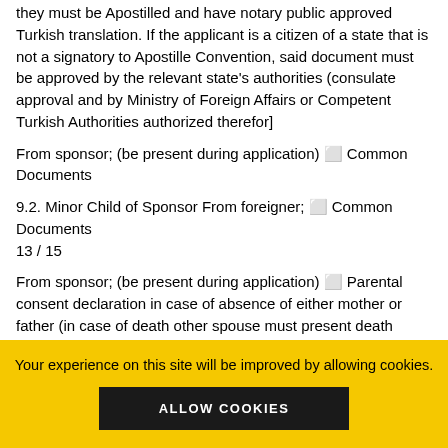they must be Apostilled and have notary public approved Turkish translation. If the applicant is a citizen of a state that is not a signatory to Apostille Convention, said document must be approved by the relevant state's authorities (consulate approval and by Ministry of Foreign Affairs or Competent Turkish Authorities authorized therefor]
From sponsor; (be present during application) ⬜ Common Documents
9.2. Minor Child of Sponsor From foreigner; ⬜ Common Documents
13 / 15
From sponsor; (be present during application) ⬜ Parental consent declaration in case of absence of either mother or father (in case of death other spouse must present death certificate) (Notarized from Turkish notary) (In case...
Your experience on this site will be improved by allowing cookies.